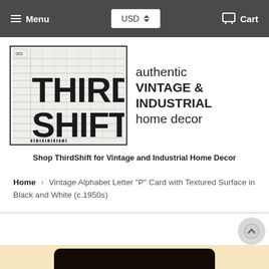Menu   USD   Cart
[Figure (logo): Third Shift logo with distressed block lettering on a grid/ledger paper background, bordered rectangle]
authentic VINTAGE & INDUSTRIAL home decor
Shop ThirdShift for Vintage and Industrial Home Decor
Home > Vintage Alphabet Letter "P" Card with Textured Surface in Black and White (c.1950s)
[Figure (photo): Bottom portion of a dark rounded-rectangle card, appears black/very dark brown on a cream/tan background]